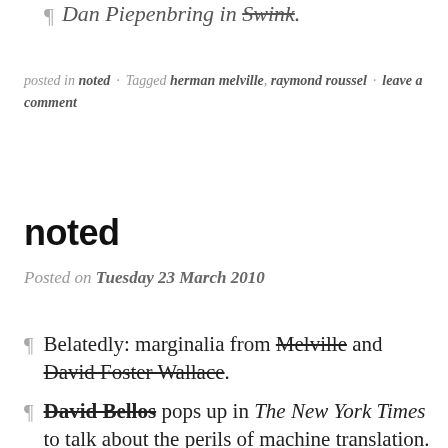¶ Dan Piepenbring in Swink.
posted in noted · Tagged herman melville, raymond roussel · leave a comment
noted
Posted on Tuesday 23 March 2010
¶ Belatedly: marginalia from Melville and David Foster Wallace.
¶ David Bellos pops up in The New York Times to talk about the perils of machine translation.